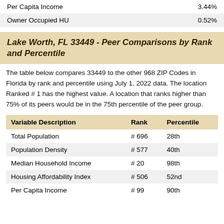| Variable | Value |
| --- | --- |
| Per Capita Income | 3.44% |
| Owner Occupied HU | 0.52% |
Lake Worth, FL 33449 - Peer Comparisons by Rank and Percentile
The table below compares 33449 to the other 968 ZIP Codes in Florida by rank and percentile using July 1, 2022 data. The location Ranked # 1 has the highest value. A location that ranks higher than 75% of its peers would be in the 75th percentile of the peer group.
| Variable Description | Rank | Percentile |
| --- | --- | --- |
| Total Population | # 696 | 28th |
| Population Density | # 577 | 40th |
| Median Household Income | # 20 | 98th |
| Housing Affordability Index | # 506 | 52nd |
| Per Capita Income | # 99 | 90th |